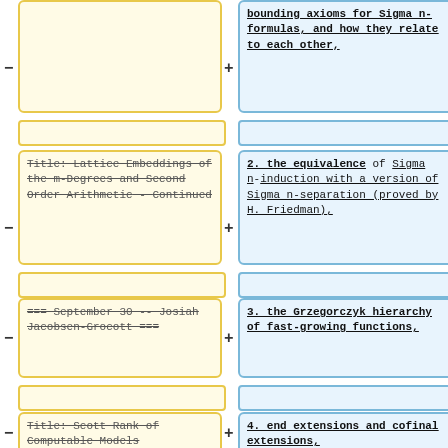- [yellow box top, empty/cropped]
+ bounding axioms for Sigma n-formulas, and how they relate to each other,
- [empty spacer]
+ [empty spacer]
- Title: Lattice Embeddings of the m-Degrees and Second Order Arithmetic - Continued
+ 2. the equivalence of Sigma n-induction with a version of Sigma n-separation (proved by H. Friedman),
- [empty spacer]
+ [empty spacer]
- === September 30 -- Josiah Jacobsen-Grocott ===
+ 3. the Grzegorczyk hierarchy of fast-growing functions,
- [empty spacer]
+ [empty spacer]
- Title: Scott Rank of Computable Models
+ 4. end extensions and cofinal extensions,